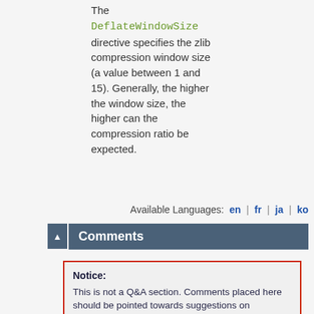The DeflateWindowSize directive specifies the zlib compression window size (a value between 1 and 15). Generally, the higher the window size, the higher can the compression ratio be expected.
Available Languages: en | fr | ja | ko
Comments
Notice: This is not a Q&A section. Comments placed here should be pointed towards suggestions on improving the documentation or server, and may be removed again by our moderators if they are either implemented or considered invalid/off-topic. Questions on how to manage the Apache HTTP Server should be directed at either our IRC channel, #httpd, on Freenode, or sent to our mailing lists.